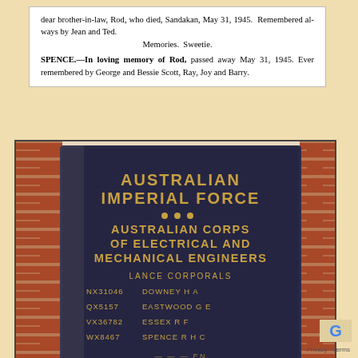dear brother-in-law, Rod, who died, Sandakan, May 31, 1945. Remembered always by Jean and Ted. Memories. Sweetie. SPENCE.—In loving memory of Rod, passed away May 31, 1945. Ever remembered by George and Bessie Scott, Ray, Joy and Barry.
[Figure (photo): A bronze memorial plaque mounted between brick pillars reading: AUSTRALIAN IMPERIAL FORCE • • • AUSTRALIAN CORPS OF ELECTRICAL AND MECHANICAL ENGINEERS. Below: LANCE CORPORALS, NX31046 DOWNEY H A, QX5157 EASTWOOD G E, VX36782 ESSEX R F, WX8467 SPENCE R H C]
Privacy · Terms